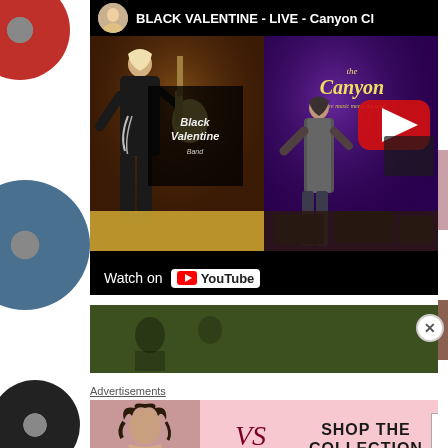[Figure (screenshot): YouTube embedded video player showing BLACK VALENTINE - LIVE - Canyon Club concert performance. Left half shows guitarist in dark clothing on a warmly lit stage with a Black Valentine banner. Right half shows singer on a purple-lit stage with The Canyon venue logo. A large red YouTube play button is visible on the right side. Bottom bar shows 'Watch on YouTube' with YouTube logo.]
[Figure (screenshot): Second video thumbnail below - partially visible, showing a dimly lit green/dark scene, likely another concert video.]
Advertisements
[Figure (photo): Victoria's Secret advertisement banner. Left portion shows model with curly hair. Center shows Victoria's Secret logo with VS monogram. Right side shows text 'SHOP THE COLLECTION' with a white 'SHOP NOW' button.]